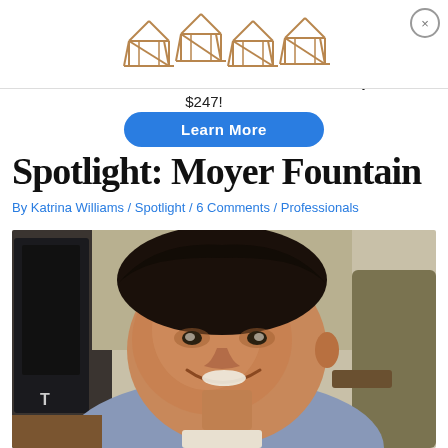[Figure (infographic): Advertisement banner with timber frame structure icons at top]
Gain Access to Over 75+ Timber Frame Plans for just $247!
Learn More
Spotlight: Moyer Fountain
By Katrina Williams / Spotlight / 6 Comments / Professionals
[Figure (photo): Photo of a smiling young man with dark hair, wearing a blue shirt, sitting in a brown/olive armchair. A black speaker is visible on the left side.]